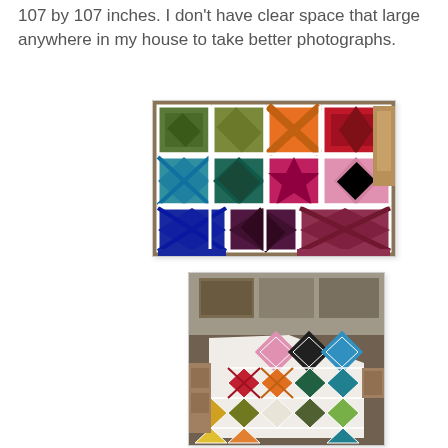107 by 107 inches. I don't have clear space that large anywhere in my house to take better photographs.
[Figure (photo): Close-up photograph of a colorful patchwork quilt laid out on a floor, showing multiple quilt blocks in various colors including green, orange, red, pink, teal, blue, purple, and maroon, each with different geometric star and pinwheel patterns on a white background with white sashing.]
[Figure (photo): Wide-angle photograph of the same colorful patchwork quilt laid out on a room floor showing the full layout of the quilt blocks in a diagonal/on-point setting, with storage furniture and boxes visible in the background.]